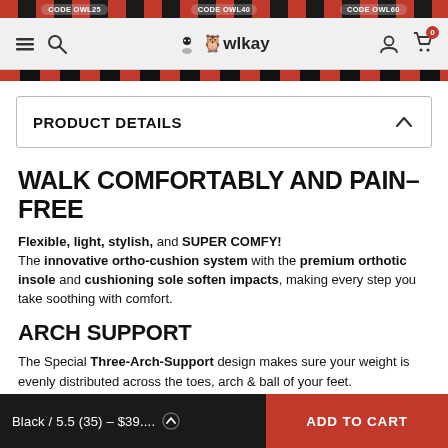CODE OWL25   CODE OWL40   CODE OWL60   owlkay
PRODUCT DETAILS
WALK COMFORTABLY AND PAIN-FREE
Flexible, light, stylish, and SUPER COMFY! The innovative ortho-cushion system with the premium orthotic insole and cushioning sole soften impacts, making every step you take soothing with comfort.
ARCH SUPPORT
The Special Three-Arch-Support design makes sure your weight is evenly distributed across the toes, arch & ball of your feet. Perforated arch for ventilation and breathability. Air cushion design makes these shoes are perfect work shoes for those
Black / 5.5 (35) – $39....   ADD TO CART